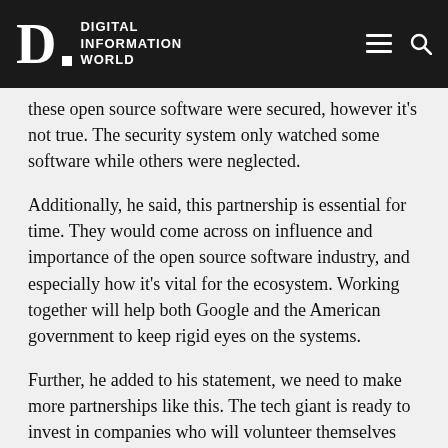Digital Information World
these open source software were secured, however it's not true. The security system only watched some software while others were neglected.
Additionally, he said, this partnership is essential for time. They would come across on influence and importance of the open source software industry, and especially how it's vital for the ecosystem. Working together will help both Google and the American government to keep rigid eyes on the systems.
Further, he added to his statement, we need to make more partnerships like this. The tech giant is ready to invest in companies who will volunteer themselves for the mission. In return, the tech firm will acquire the...